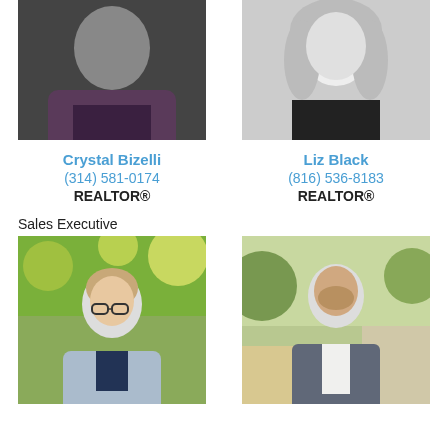[Figure (photo): Black and white headshot photo of Crystal Bizelli, a woman with dark hair]
[Figure (photo): Black and white headshot photo of Liz Black, a woman with light hair]
Crystal Bizelli
(314) 581-0174
REALTOR®
Liz Black
(816) 536-8183
REALTOR®
Sales Executive
[Figure (photo): Color outdoor photo of a young man with glasses wearing a grey blazer]
[Figure (photo): Color outdoor photo of a man in a grey suit smiling]